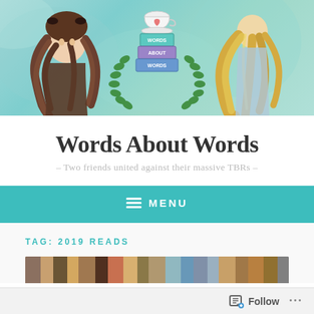[Figure (illustration): Blog header banner with teal/aqua watercolor background featuring three illustrated figures: left - a girl with long dark wavy hair, center - a stack of three books (teal, purple, blue) with a teacup on top and green laurel wreath, labeled 'WORDS ABOUT WORDS', right - a girl with long blonde hair seen from behind]
Words About Words
- Two friends united against their massive TBRs -
MENU
TAG: 2019 READS
[Figure (photo): Partial thumbnail strip of book covers at the bottom of the content area]
Follow ...